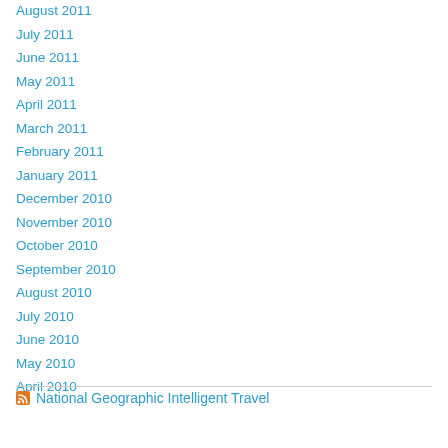August 2011
July 2011
June 2011
May 2011
April 2011
March 2011
February 2011
January 2011
December 2010
November 2010
October 2010
September 2010
August 2010
July 2010
June 2010
May 2010
April 2010
National Geographic Intelligent Travel